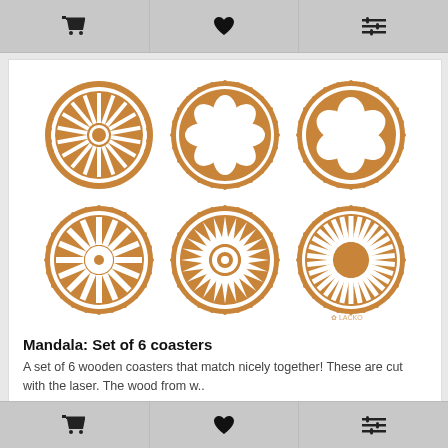cart | wishlist | compare
[Figure (photo): Six wooden laser-cut mandala coasters arranged in a 3x2 grid on a white background. Each coaster features a different circular floral or geometric cutout pattern in warm brown wood.]
Mandala: Set of 6 coasters
A set of 6 wooden coasters that match nicely together! These are cut with the laser. The wood from w..
20.00€
Ex Tax: 16.53€
cart | wishlist | compare